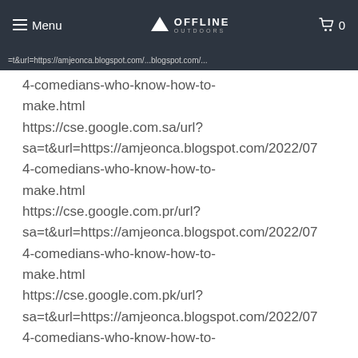Menu | OFFLINE OUTDOORS | 0
=t&url=https://...blogspot.com/...
4-comedians-who-know-how-to-make.html https://cse.google.com.sa/url? sa=t&url=https://amjeonca.blogspot.com/2022/07 4-comedians-who-know-how-to-make.html https://cse.google.com.pr/url? sa=t&url=https://amjeonca.blogspot.com/2022/07 4-comedians-who-know-how-to-make.html https://cse.google.com.pk/url? sa=t&url=https://amjeonca.blogspot.com/2022/07 4-comedians-who-know-how-to-